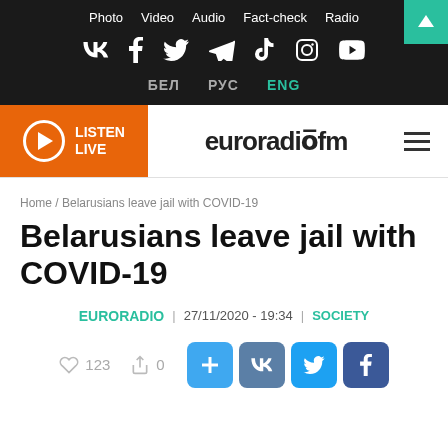Photo  Video  Audio  Fact-check  Radio
Social icons: VK, Facebook, Twitter, Telegram, TikTok, Instagram, YouTube
БЕЛ  РУС  ENG
[Figure (logo): Euroradio FM logo with LISTEN LIVE button and hamburger menu]
Home / Belarusians leave jail with COVID-19
Belarusians leave jail with COVID-19
EURORADIO | 27/11/2020 - 19:34 | SOCIETY
♡ 123  < 0  [share buttons: +, VK, Twitter, Facebook]